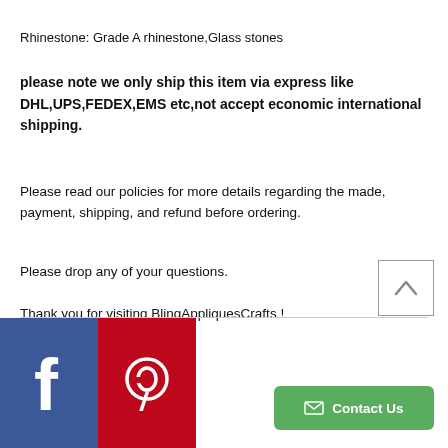Rhinestone: Grade A rhinestone,Glass stones
please note we only ship this item via express like DHL,UPS,FEDEX,EMS etc,not accept economic international shipping.
Please read our policies for more details regarding the made, payment, shipping, and refund before ordering.
Please drop any of your questions.
Thank you for visiting BlingAppliquesCrafts !
[Figure (illustration): Back to top arrow button — square with upward chevron]
[Figure (illustration): Social media bar with Facebook (blue) and Pinterest (red) icons, and a green Contact Us button]